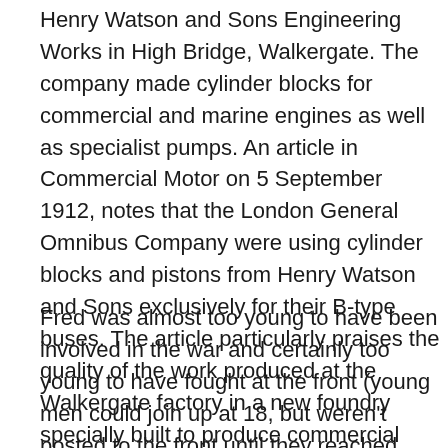Henry Watson and Sons Engineering Works in High Bridge, Walkergate. The company made cylinder blocks for commercial and marine engines as well as specialist pumps. An article in Commercial Motor on 5 September 1912, notes that the London General Omnibus Company were using cylinder blocks and pistons from Henry Watson and Sons exclusively for their B-type buses. The article particularly praises the quality of the work produced at the Walkergate factory in a new foundry specially built to produce commercial vehicle engines components.
Fred was almost too young to have been involved in the war and certainly too young to have fought at the front (young men could join up at 18, but weren't posted to the front until they reached 19). Yet he died on 1 March 1919, 18 days short of his 19th birthday, some four months after the end of the war and is listed as a casualty of war, buried